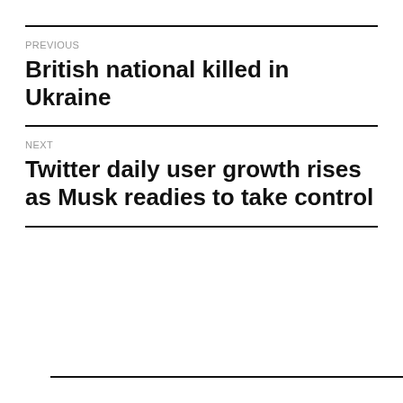PREVIOUS
British national killed in Ukraine
NEXT
Twitter daily user growth rises as Musk readies to take control